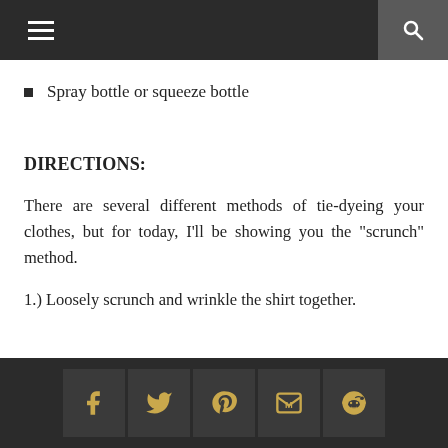[Navigation bar with hamburger menu and search icon]
Spray bottle or squeeze bottle
DIRECTIONS:
There are several different methods of tie-dyeing your clothes, but for today, I'll be showing you the "scrunch" method.
1.) Loosely scrunch and wrinkle the shirt together.
[Social share buttons: Facebook, Twitter, Pinterest, Gmail, Reddit]